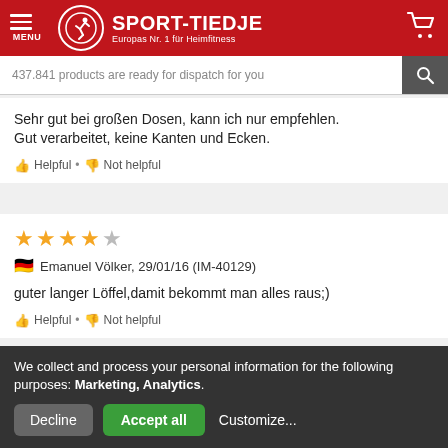[Figure (screenshot): Sport-Tiedje website header with red background, menu icon, logo with running figure, site name SPORT-TIEDJE and tagline Europas Nr. 1 für Heimfitness, and shopping cart icon]
437.841 products are ready for dispatch for you
Sehr gut bei großen Dosen, kann ich nur empfehlen. Gut verarbeitet, keine Kanten und Ecken.
👍 Helpful • 👎 Not helpful
★★★★☆ Emanuel Völker, 29/01/16 (IM-40129)
guter langer Löffel,damit bekommt man alles raus;)
👍 Helpful • 👎 Not helpful
We collect and process your personal information for the following purposes: Marketing, Analytics.
Decline  Accept all  Customize...